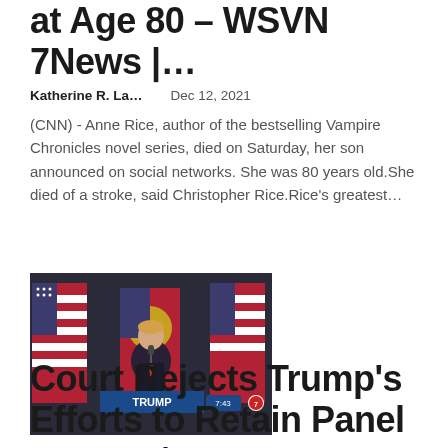at Age 80 – WSVN 7News |…
Katherine R. La…    Dec 12, 2021
(CNN) - Anne Rice, author of the bestselling Vampire Chronicles novel series, died on Saturday, her son announced on social networks. She was 80 years old.She died of a stroke, said Christopher Rice.Rice's greatest…
[Figure (photo): Trump at a podium with a TRUMP sign, flanked by American flags, with a TV news overlay timestamp 7:43]
Court Rejects Trump's Efforts to Retain Panel Tapes 1/6 – WSVN 7News | Miami News….